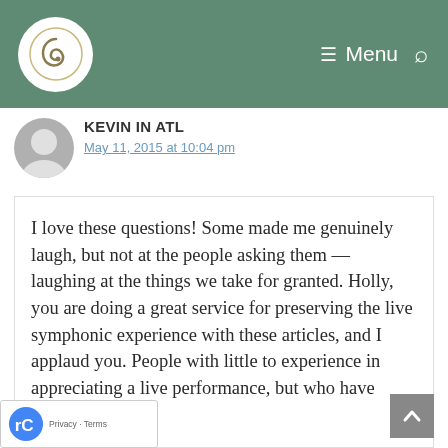Menu
Kevin in ATL
May 11, 2015 at 10:04 pm
I love these questions! Some made me genuinely laugh, but not at the people asking them — laughing at the things we take for granted. Holly, you are doing a great service for preserving the live symphonic experience with these articles, and I applaud you. People with little to experience in appreciating a live performance, but who have interest,